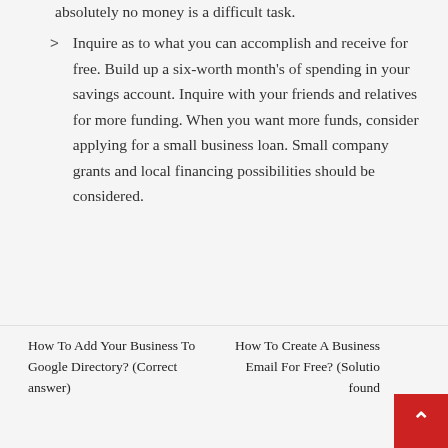absolutely no money is a difficult task.
Inquire as to what you can accomplish and receive for free. Build up a six-worth month's of spending in your savings account. Inquire with your friends and relatives for more funding. When you want more funds, consider applying for a small business loan. Small company grants and local financing possibilities should be considered.
How To Add Your Business To Google Directory? (Correct answer)    How To Create A Business Email For Free? (Solution found)